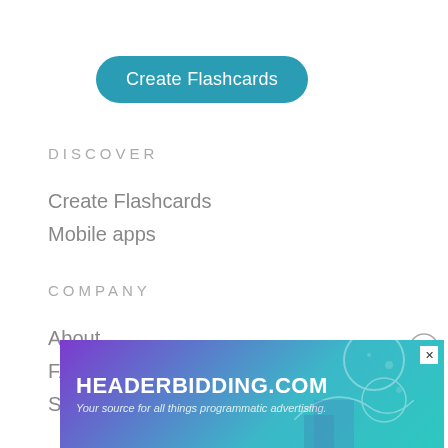[Figure (other): Teal rounded button labeled 'Create Flashcards']
DISCOVER
Create Flashcards
Mobile apps
COMPANY
About
FAQ
Support
[Figure (other): Close (X) button circle on the right side]
[Figure (infographic): Advertisement banner for HEADERBIDDING.COM with subtitle 'Your source for all things programmatic advertising.' on a purple-teal gradient background with decorative geometric patterns.]